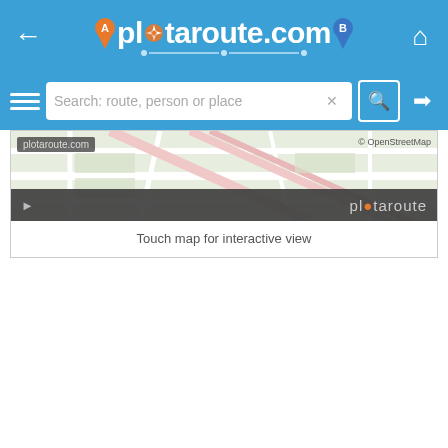plotaroute.com navigation header with back arrow, logo, and home icon
Search bar: Search: route, person or place, hamburger menu, login icon
[Figure (map): Partial map preview showing street map tiles from OpenStreetMap with plotaroute.com watermark, play button, and plotaroute branding bar]
Touch map for interactive view